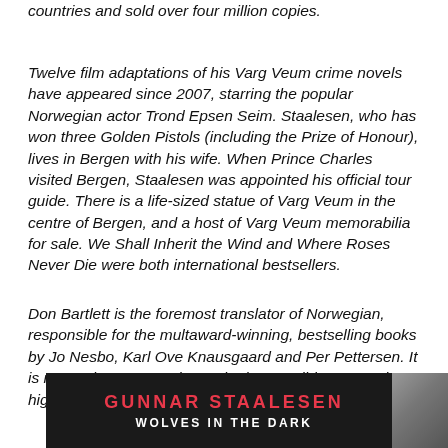countries and sold over four million copies.
Twelve film adaptations of his Varg Veum crime novels have appeared since 2007, starring the popular Norwegian actor Trond Epsen Seim. Staalesen, who has won three Golden Pistols (including the Prize of Honour), lives in Bergen with his wife. When Prince Charles visited Bergen, Staalesen was appointed his official tour guide. There is a life-sized statue of Varg Veum in the centre of Bergen, and a host of Varg Veum memorabilia for sale. We Shall Inherit the Wind and Where Roses Never Die were both international bestsellers.
Don Bartlett is the foremost translator of Norwegian, responsible for the multaward-winning, bestselling books by Jo Nesbo, Karl Ove Knausgaard and Per Pettersen. It is rare to have a translator who is as well-known and highly regarded as the author.
[Figure (photo): Book cover of Gunnar Staalesen's 'Wolves in the Dark' — dark background with author name in red capital letters and title in white capital letters, with partial face of a person on the right side.]